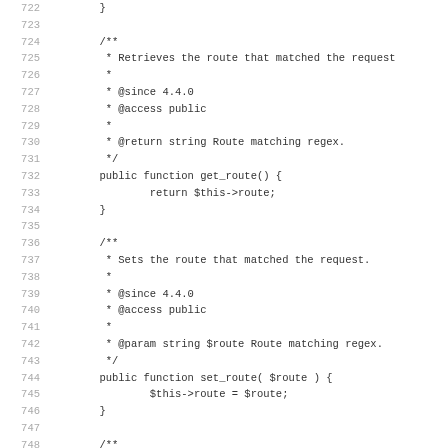Code listing lines 722-754 showing PHP class methods get_route() and set_route() with PHPDoc comments, and start of attributes retrieval method.